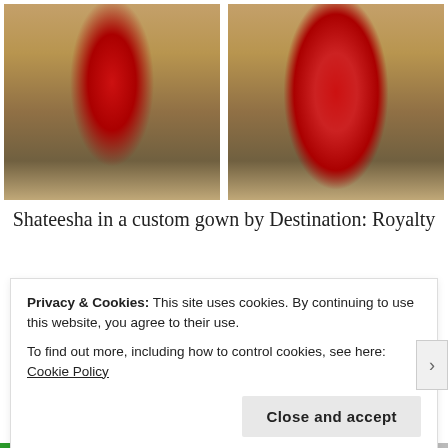[Figure (photo): Two side-by-side photos of a model named Shateesha on a runway wearing a dramatic red layered tulle gown by Destination: Royalty, with an audience seated on either side of the catwalk platform. Left photo shows front view, right photo shows back view.]
Shateesha in a custom gown by Destination: Royalty
Privacy & Cookies: This site uses cookies. By continuing to use this website, you agree to their use.
To find out more, including how to control cookies, see here: Cookie Policy
Close and accept